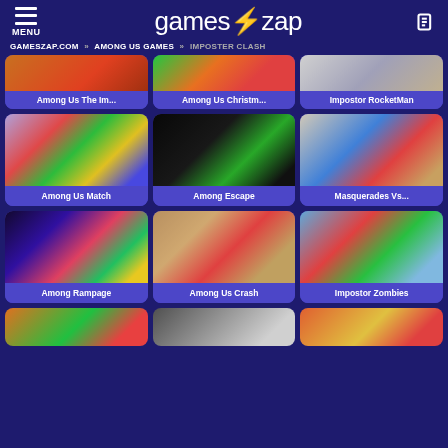MENU | games⚡zap
GAMESZAP.COM » AMONG US GAMES » IMPOSTER CLASH
[Figure (screenshot): Game thumbnail for Among Us The Im...]
Among Us The Im...
[Figure (screenshot): Game thumbnail for Among Us Christm...]
Among Us Christm...
[Figure (screenshot): Game thumbnail for Impostor RocketMan]
Impostor RocketMan
[Figure (screenshot): Game thumbnail for Among Us Match]
Among Us Match
[Figure (screenshot): Game thumbnail for Among Escape]
Among Escape
[Figure (screenshot): Game thumbnail for Masquerades Vs...]
Masquerades Vs...
[Figure (screenshot): Game thumbnail for Among Rampage]
Among Rampage
[Figure (screenshot): Game thumbnail for Among Us Crash]
Among Us Crash
[Figure (screenshot): Game thumbnail for Impostor Zombies]
Impostor Zombies
[Figure (screenshot): Partial game thumbnail row at bottom]